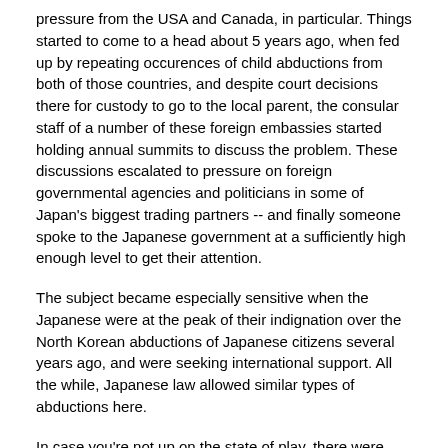pressure from the USA and Canada, in particular. Things started to come to a head about 5 years ago, when fed up by repeating occurences of child abductions from both of those countries, and despite court decisions there for custody to go to the local parent, the consular staff of a number of these foreign embassies started holding annual summits to discuss the problem. These discussions escalated to pressure on foreign governmental agencies and politicians in some of Japan's biggest trading partners -- and finally someone spoke to the Japanese government at a sufficiently high enough level to get their attention.
The subject became especially sensitive when the Japanese were at the peak of their indignation over the North Korean abductions of Japanese citizens several years ago, and were seeking international support. All the while, Japanese law allowed similar types of abductions here.
In case you're not up on the state of play, there were 44,000 international marriages registered in Japan in 2006, and probably a good percentage of that number again of Japanese marrying overseas but not bothering to register back in Japan. The divorce rate within Japan is about 30%, and for Japanese living overseas (take the US as an example), it is typical of the local population, so more like 50%-60%. Thus there are a lot of international separations -- many of which are not amicable.